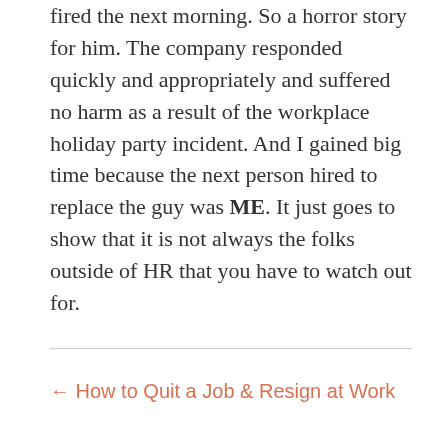fired the next morning. So a horror story for him. The company responded quickly and appropriately and suffered no harm as a result of the workplace holiday party incident. And I gained big time because the next person hired to replace the guy was ME. It just goes to show that it is not always the folks outside of HR that you have to watch out for.
← How to Quit a Job & Resign at Work